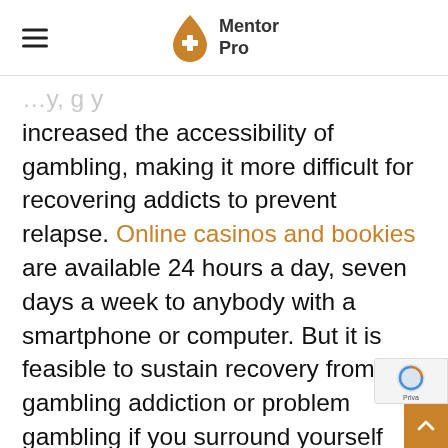Mentor Pro
increased the accessibility of gambling, making it more difficult for recovering addicts to prevent relapse. Online casinos and bookies are available 24 hours a day, seven days a week to anybody with a smartphone or computer. But it is feasible to sustain recovery from gambling addiction or problem gambling if you surround yourself with accountable people, avoid enticing locations and websites,